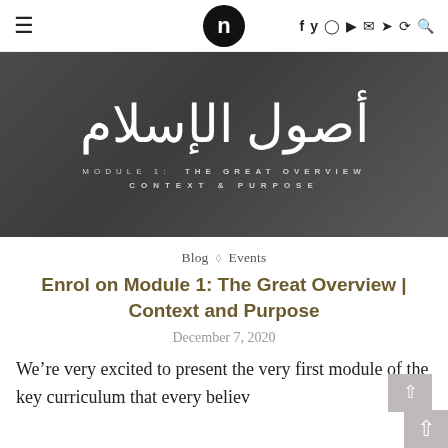n [navigation bar with hamburger, logo 'n', social icons: f y Instagram YouTube mail Telegram RSS search]
[Figure (illustration): Dark grey banner image showing Arabic calligraphy (أصول الإسلام) over a faint city/mosque background, with subtitle text: MODULE 1: THE GREAT OVERVIEW / CONTEXT & PURPOSE]
Blog ◇ Events
Enrol on Module 1: The Great Overview | Context and Purpose
December 7, 2020
We're very excited to present the very first module of the key curriculum that every believ... We believe every one's i...